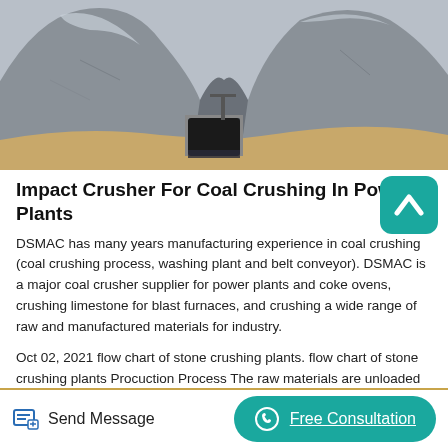[Figure (photo): Aerial view of a mining/quarry site showing large grey rock piles (possibly coal or limestone) with a dark opening/shaft visible between the rock mounds and sandy/light-brown earth surrounding them.]
Impact Crusher For Coal Crushing In Power Plants
DSMAC has many years manufacturing experience in coal crushing (coal crushing process, washing plant and belt conveyor). DSMAC is a major coal crusher supplier for power plants and coke ovens, crushing limestone for blast furnaces, and crushing a wide range of raw and manufactured materials for industry.
Oct 02, 2021 flow chart of stone crushing plants. flow chart of stone crushing plants Procuction Process The raw materials are unloaded by